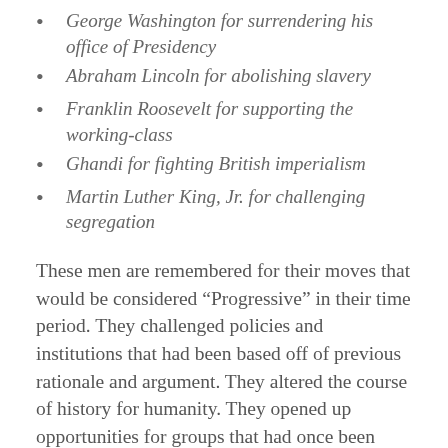George Washington for surrendering his office of Presidency
Abraham Lincoln for abolishing slavery
Franklin Roosevelt for supporting the working-class
Ghandi for fighting British imperialism
Martin Luther King, Jr. for challenging segregation
These men are remembered for their moves that would be considered “Progressive” in their time period. They challenged policies and institutions that had been based off of previous rationale and argument. They altered the course of history for humanity. They opened up opportunities for groups that had once been denied those “inalienable rights of Life, Liberty